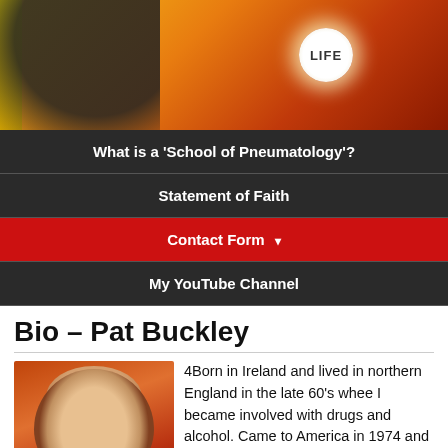[Figure (photo): Website hero banner image with silhouette of a person's head on a yellow and orange sunset background, a hand holding a glowing circle with the word LIFE]
What is a ‘School of Pneumatology’?
Statement of Faith
Contact Form
My YouTube Channel
Bio – Pat Buckley
[Figure (photo): Portrait photo of a bald man against an orange/red background]
4Born in Ireland and lived in northern England in the late 60’s whee I became involved with drugs and alcohol. Came to America in 1974 and worked in corporate America where drugs and